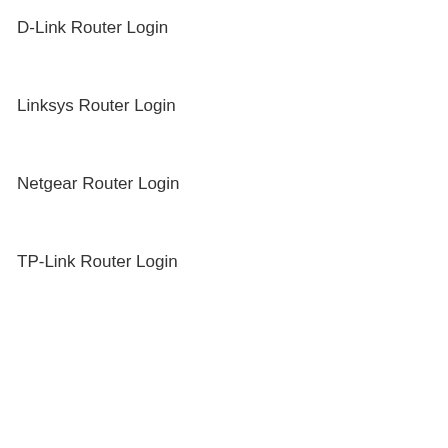D-Link Router Login
Linksys Router Login
Netgear Router Login
TP-Link Router Login